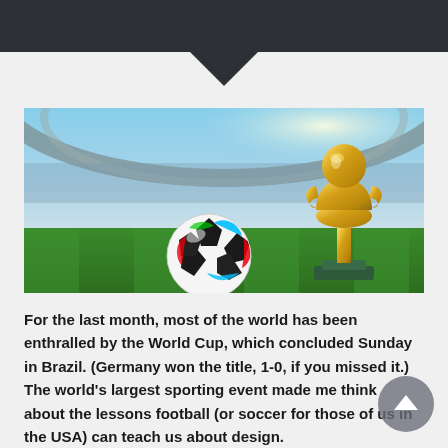[Figure (photo): A soccer ball (Brazuca) and the FIFA World Cup trophy on a green grass pitch inside a large stadium, with bright sunlight in the background.]
For the last month, most of the world has been enthralled by the World Cup, which concluded Sunday in Brazil. (Germany won the title, 1-0, if you missed it.) The world's largest sporting event made me think about the lessons football (or soccer for those of us in the USA) can teach us about design.